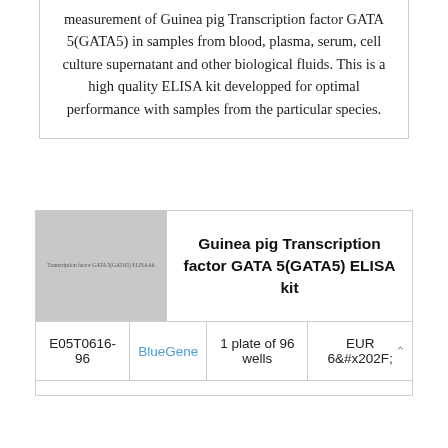measurement of Guinea pig Transcription factor GATA 5(GATA5) in samples from blood, plasma, serum, cell culture supernatant and other biological fluids. This is a high quality ELISA kit developped for optimal performance with samples from the particular species.
[Figure (photo): Product image placeholder showing a gray box with text label 'Transcription factor GATA 5(GATA5) ELISA kit']
Guinea pig Transcription factor GATA 5(GATA5) ELISA kit
|  |  |  |  |
| --- | --- | --- | --- |
| E05T0616-96 | BlueGene | 1 plate of 96 wells | EUR 68 |